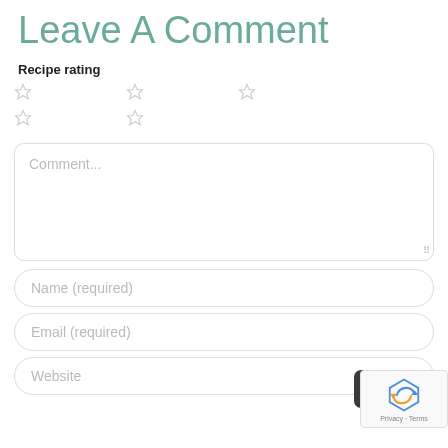Leave A Comment
Recipe rating
[Figure (other): Five star rating widget showing 5 star outlines in two rows (3 stars on top row, 2 on bottom row), all unfilled/empty]
Comment...
Name (required)
Email (required)
Website
[Figure (other): Dark grey back-to-top button with upward chevron arrow]
[Figure (other): Google reCAPTCHA widget showing reCAPTCHA logo and Privacy - Terms text]